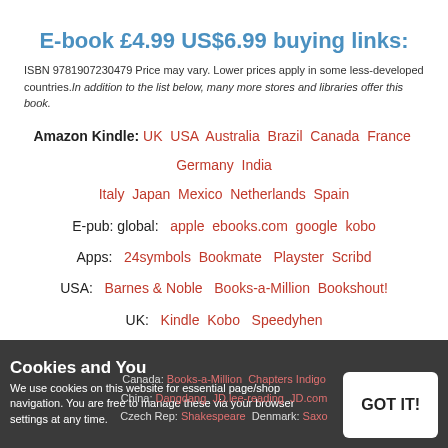E-book £4.99 US$6.99 buying links:
ISBN 9781907230479 Price may vary. Lower prices apply in some less-developed countries. In addition to the list below, many more stores and libraries offer this book.
Amazon Kindle: UK USA Australia Brazil Canada France Germany India Italy Japan Mexico Netherlands Spain
E-pub: global: apple ebooks.com google kobo
Apps: 24symbols Bookmate Playster Scribd
USA: Barnes & Noble Books-a-Million Bookshout!
UK: Kindle Kobo Speedyhen
Australia: Angus & Robertson
Austria: Thalia Belgium: bol.com
Canada: Books-a-Million Chapters Indigo
China: Dangdang JD.lee-reading JD.com
Czech Rep: Shakespeare Denmark: Saxo
Cookies and You
We use cookies on this website for essential page/shop navigation. You are free to manage these via your browser settings at any time.